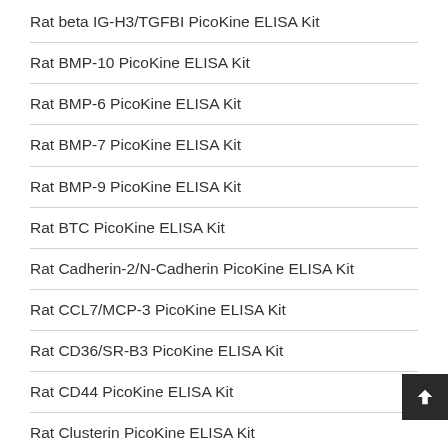Rat beta IG-H3/TGFBI PicoKine ELISA Kit
Rat BMP-10 PicoKine ELISA Kit
Rat BMP-6 PicoKine ELISA Kit
Rat BMP-7 PicoKine ELISA Kit
Rat BMP-9 PicoKine ELISA Kit
Rat BTC PicoKine ELISA Kit
Rat Cadherin-2/N-Cadherin PicoKine ELISA Kit
Rat CCL7/MCP-3 PicoKine ELISA Kit
Rat CD36/SR-B3 PicoKine ELISA Kit
Rat CD44 PicoKine ELISA Kit
Rat Clusterin PicoKine ELISA Kit
Rat Contactin-1 PicoKine ELISA Kit
Rat CXADR PicoKine ELISA Kit
Rat CXCL8 PicoKine ELISA Kit